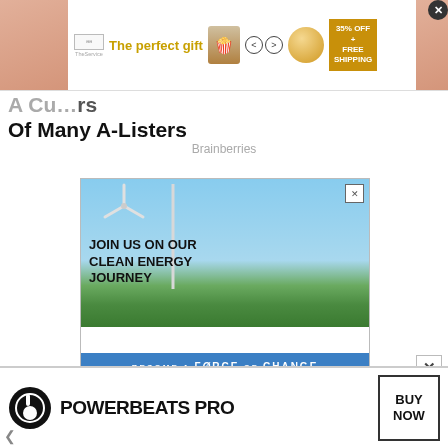[Figure (illustration): Top banner advertisement: The perfect gift - food delivery service with arrows, bowl image, and 35% OFF + FREE SHIPPING promo badge]
A Cu... Of Many A-Listers
Brainberries
[Figure (illustration): Clean energy advertisement showing a father with child on shoulders near a wind turbine. Text: JOIN US ON OUR CLEAN ENERGY JOURNEY. Bottom bar: BECOME A FORCE OF CHANGE]
[Figure (illustration): Bottom banner advertisement for Powerbeats Pro with Beats logo and BUY NOW button]